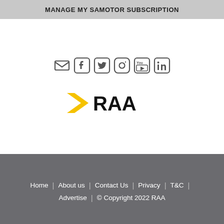MANAGE MY SAMOTOR SUBSCRIPTION
[Figure (infographic): Row of social media icons: email/envelope, Facebook, Twitter, Instagram, YouTube, LinkedIn — all in dark grey]
[Figure (logo): RAA logo: yellow chevron arrow pointing right followed by bold black text RAA]
Home | About us | Contact Us | Privacy | T&C | Advertise | © Copyright 2022 RAA